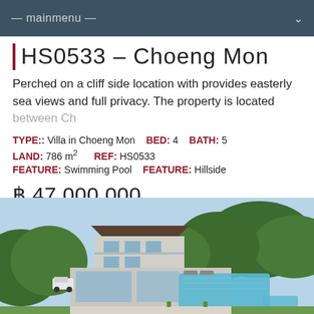— mainmenu —
HS0533 – Choeng Mon
Perched on a cliff side location with provides easterly sea views and full privacy. The property is located between Ch...
TYPE:: Villa in Choeng Mon   BED: 4   BATH: 5
LAND: 786 m²   REF: HS0533
FEATURE: Swimming Pool   FEATURE: Hillside
฿ 47,000,000
[Figure (photo): Aerial view of a modern hillside villa with infinity pool, surrounded by lush green trees, in Choeng Mon, Koh Samui.]